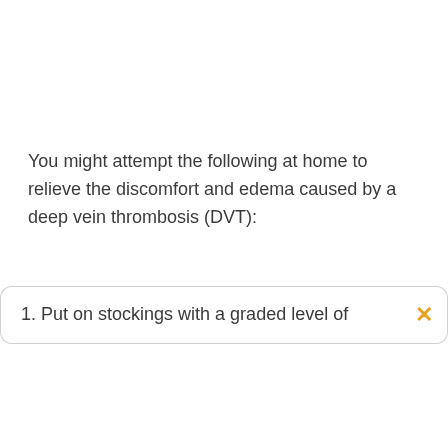You might attempt the following at home to relieve the discomfort and edema caused by a deep vein thrombosis (DVT):
1. Put on stockings with a graded level of